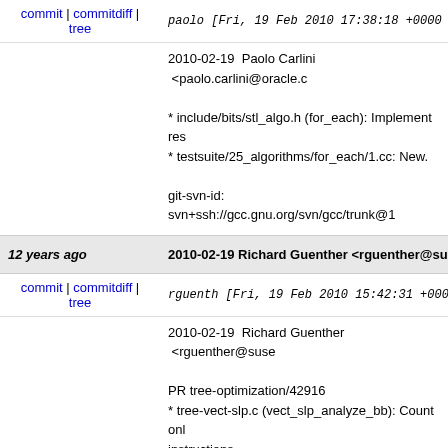commit | commitdiff | tree    paolo [Fri, 19 Feb 2010 17:38:18 +0000 (
2010-02-19  Paolo Carlini  <paolo.carlini@oracle.c

* include/bits/stl_algo.h (for_each): Implement res
* testsuite/25_algorithms/for_each/1.cc: New.

git-svn-id: svn+ssh://gcc.gnu.org/svn/gcc/trunk@1
12 years ago    2010-02-19 Richard Guenther <rguenther@sus
commit | commitdiff | tree    rguenth [Fri, 19 Feb 2010 15:42:31 +0000
2010-02-19  Richard Guenther  <rguenther@suse

PR tree-optimization/42916
* tree-vect-slp.c (vect_slp_analyze_bb): Count onl
instructions.

* gcc.dg/pr42916.c: New testcase.

git-svn-id: svn+ssh://gcc.gnu.org/svn/gcc/trunk@1
12 years ago    * configure.ac: Replace all uses of changequot
commit | commitdiff | tree    schwab [Fri, 19 Feb 2010 13:58:09 +0000
* configure.ac: Replace all uses of changequote in